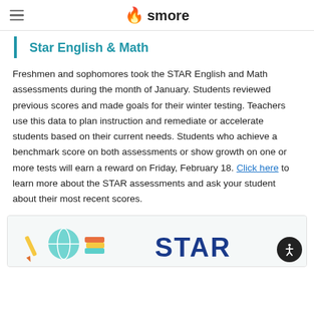smore
Star English & Math
Freshmen and sophomores took the STAR English and Math assessments during the month of January. Students reviewed previous scores and made goals for their winter testing. Teachers use this data to plan instruction and remediate or accelerate students based on their current needs. Students who achieve a benchmark score on both assessments or show growth on one or more tests will earn a reward on Friday, February 18. Click here to learn more about the STAR assessments and ask your student about their most recent scores.
[Figure (illustration): Illustration showing school-related icons (globe, pencil, books) and the text STAR in large bold blue letters]